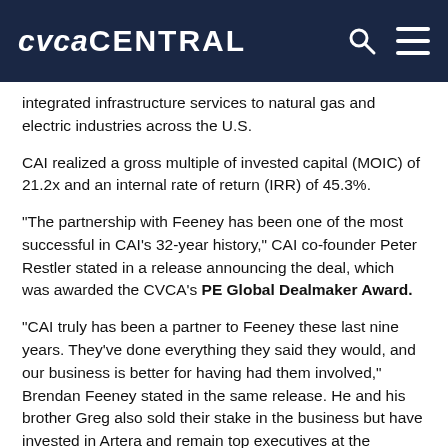CVCA CENTRAL
integrated infrastructure services to natural gas and electric industries across the U.S.
CAI realized a gross multiple of invested capital (MOIC) of 21.2x and an internal rate of return (IRR) of 45.3%.
“The partnership with Feeney has been one of the most successful in CAI’s 32-year history,” CAI co-founder Peter Restler stated in a release announcing the deal, which was awarded the CVCA’s PE Global Dealmaker Award.
“CAI truly has been a partner to Feeney these last nine years. They’ve done everything they said they would, and our business is better for having had them involved,” Brendan Feeney stated in the same release. He and his brother Greg also sold their stake in the business but have invested in Artera and remain top executives at the company they created.